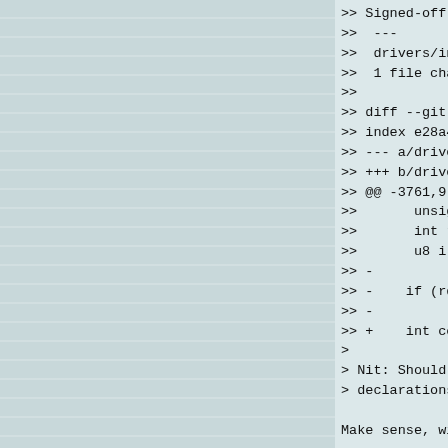>> Signed-off-by: Michael Wang <yun.
>>  ---
>>  drivers/infiniband/core/cm.c | 2
>>  1 file changed, 17 insertions(+)
>>
>> diff --git a/drivers/infiniband/c
>> index e28a494..3c10b75 100644
>> --- a/drivers/infiniband/core/cm.
>> +++ b/drivers/infiniband/core/cm.
>> @@ -3761,9 +3761,7 @@ static void
>>       unsigned long flags;
>>       int ret;
>>       u8 i;
>> -
>> -    if (rdma_node_get_transport(
>> -          return;
>> +    int count = 0;
>
> Nit: Should the int count line be
> declarations are naturally aligned

Make sense, will be in next version

Regards,
Michael Wang

>
> -- Hal
>
> <snip...>